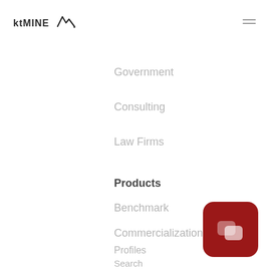ktMINE
Government
Consulting
Law Firms
Products
Benchmark
Commercialization
Profiles
Search
[Figure (logo): Red rounded square chat/messaging button icon with two overlapping speech bubble shapes in lighter red/pink]